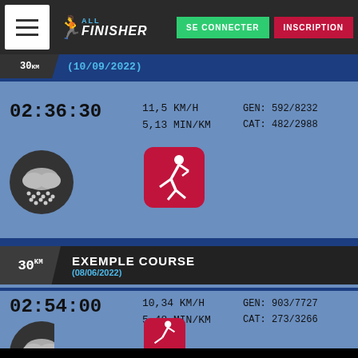All Finisher — SE CONNECTER | INSCRIPTION
30km (10/09/2022)
02:36:30  11,5 KM/H  5,13 MIN/KM  GEN: 592/8232  CAT: 482/2988
[Figure (illustration): Weather icon showing rain/snow cloud, and a running app icon (red square with white runner silhouette)]
EXEMPLE COURSE (08/06/2022) — 30km
02:54:00  10,34 KM/H  5,48 MIN/KM  GEN: 903/7727  CAT: 273/3266
[Figure (illustration): Partial weather cloud icon and partial red running app icon]